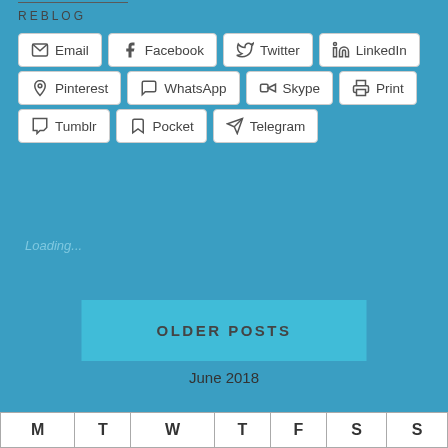REBLOG
Email
Facebook
Twitter
LinkedIn
Pinterest
WhatsApp
Skype
Print
Tumblr
Pocket
Telegram
Loading...
OLDER POSTS
June 2018
| M | T | W | T | F | S | S |
| --- | --- | --- | --- | --- | --- | --- |